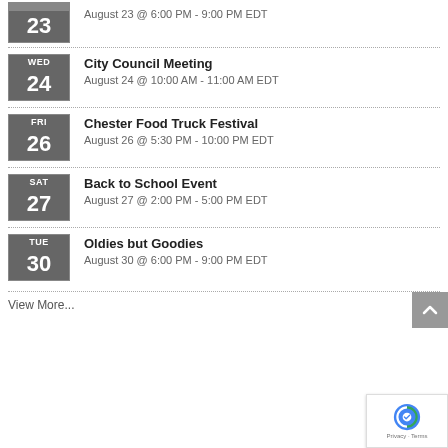23 — August 23 @ 6:00 PM - 9:00 PM EDT
City Council Meeting — WED 24 — August 24 @ 10:00 AM - 11:00 AM EDT
Chester Food Truck Festival — FRI 26 — August 26 @ 5:30 PM - 10:00 PM EDT
Back to School Event — SAT 27 — August 27 @ 2:00 PM - 5:00 PM EDT
Oldies but Goodies — TUE 30 — August 30 @ 6:00 PM - 9:00 PM EDT
View More...